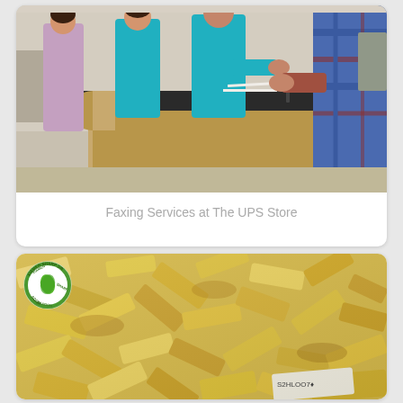[Figure (photo): Photo of UPS Store interior with employees at counter helping a customer with papers/documents]
Faxing Services at The UPS Store
[Figure (photo): Close-up photo of raw cut bamboo shoots or similar pale yellow vegetable pieces, with a circular green logo/badge overlay in the top left reading 'XIAMEN SHARP DRAGON']